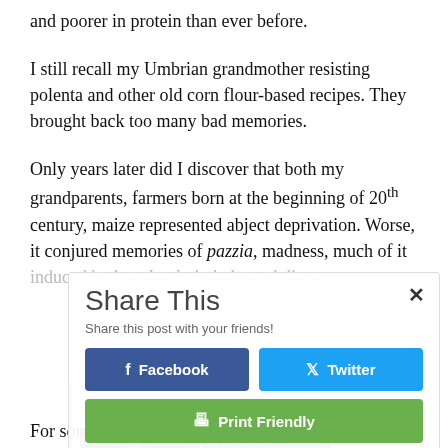and poorer in protein than ever before.
I still recall my Umbrian grandmother resisting polenta and other old corn flour-based recipes. They brought back too many bad memories.
Only years later did I discover that both my grandparents, farmers born at the beginning of 20th century, maize represented abject deprivation. Worse, it conjured memories of pazzia, madness, much of it induced by hopelessly imbalanced diets.
[Figure (screenshot): Share This overlay popup with Facebook, Twitter, and Print Friendly buttons]
For some three centuries, until the post-World War II